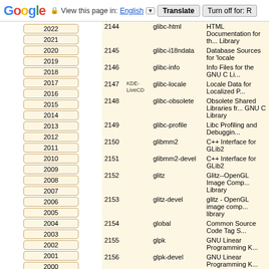Google | View this page in: English | Translate | Turn off for: R
| # |  | Package | Description |
| --- | --- | --- | --- |
| 2144 |  | glibc-html | HTML Documentation for the GNU C Library |
| 2145 |  | glibc-i18ndata | Database Sources for 'locale' |
| 2146 |  | glibc-info | Info Files for the GNU C Li... |
| 2147 | KDE-LiveCD | glibc-locale | Locale Data for Localized P... |
| 2148 |  | glibc-obsolete | Obsolete Shared Libraries from GNU C Library |
| 2149 |  | glibc-profile | Libc Profiling and Debuggi... |
| 2150 |  | glibmm2 | C++ Interface for GLib2 |
| 2151 |  | glibmm2-devel | C++ Interface for GLib2 |
| 2152 |  | glitz | Glitz--OpenGL Image Comp Library |
| 2153 |  | glitz-devel | glitz - OpenGL image comp library |
| 2154 |  | global | Common Source Code Tag S... |
| 2155 |  | glpk | GNU Linear Programming K... |
| 2156 |  | glpk-devel | GNU Linear Programming K... |
| 2157 |  | glpk-doc | GNU Linear Programming K... |
| 2158 |  | gltt | Library for TrueType with C Applications |
| 2159 |  | gltt-devel | Library for TrueType with C Applications |
| 2160 |  | gmime | MIME Library Utilities |
| 2161 |  | gmime | MIME Library Utilities |
| 2162 |  | gmime | gmime: GMIME_UUENCO... fixed to prevent pos-> |
| 2163 |  | gmime-devel | MIME Library |
| 2164 |  | gmime-doc | MIME Library documentatio... |
| 2165 |  | gmime-sharp | MIME Library Mono Bindi... |